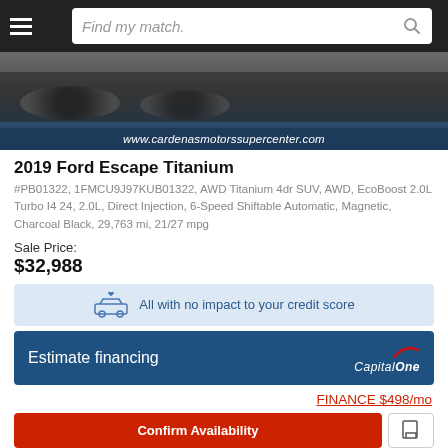Find my match.
[Figure (photo): Partial rear view of a dark-colored 2019 Ford Escape SUV with a dark blue banner showing www.cardenasmotorssupercenter.com]
2019 Ford Escape Titanium
#PB01322, 1FMCU9J97KUB01322, AWD Titanium 4dr SUV, AWD, EcoBoost 2.0L Turbo I4 24, 2.0L, Direct Injection, 6-Speed Shiftable Automatic, Magnetic, Charcoal Black, 29,763 mi, 21/27 mpg
Sale Price:
$32,988
All with no impact to your credit score
Estimate financing
FINANCE $498/mo
Confirm Availability